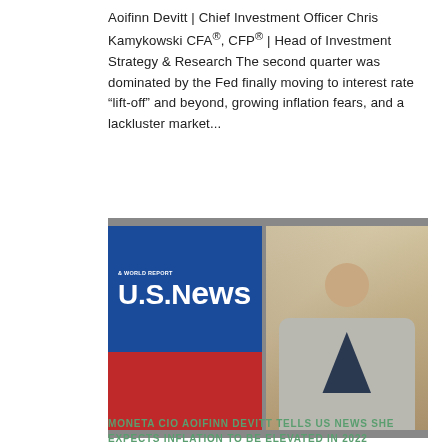Aoifinn Devitt | Chief Investment Officer Chris Kamykowski CFA®, CFP® | Head of Investment Strategy & Research The second quarter was dominated by the Fed finally moving to interest rate “lift-off” and beyond, growing inflation fears, and a lackluster market...
[Figure (photo): Two-panel image: left panel shows U.S. News & World Report logo on blue and red background; right panel shows a professional photo of a woman (Aoifinn Devitt) in a grey blazer with arms crossed, smiling.]
MONETA CIO AOIFINN DEVITT TELLS US NEWS SHE EXPECTS INFLATION TO BE ELEVATED IN 2022